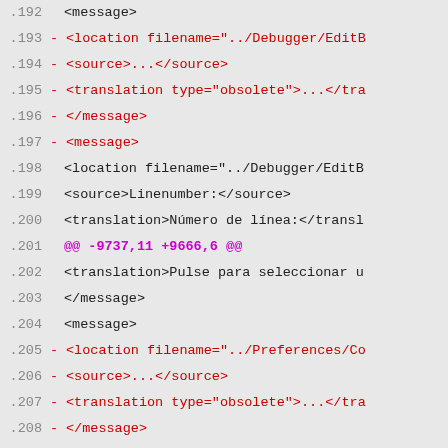Code diff view showing XML translation file changes, lines 192-212
.192        <message>
.193 -          <location filename="../Debugger/EditB
.194 -          <source>...</source>
.195 -          <translation type="obsolete">...</tra
.196 -      </message>
.197 -      <message>
.198          <location filename="../Debugger/EditB
.199          <source>Linenumber:</source>
.200          <translation>Número de línea:</transl
.201 @@ -9737,11 +9666,6 @@
.202          <translation>Pulse para seleccionar u
.203      </message>
.204      <message>
.205 -          <location filename="../Preferences/Co
.206 -          <source>...</source>
.207 -          <translation type="obsolete">...</tra
.208 -      </message>
.209 -      <message>
.210          <location filename="../Preferences/Co
.211          <source>Press to delete the selected
.212          <translation>Pulse para borrar el arc